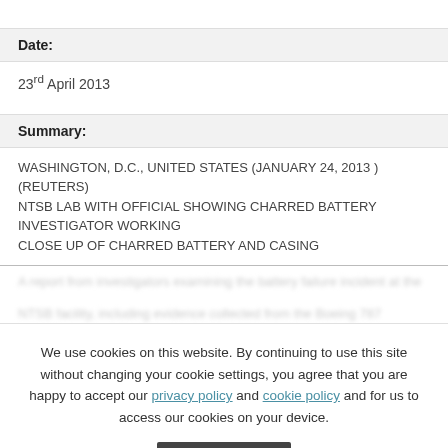Date:
23rd April 2013
Summary:
WASHINGTON, D.C., UNITED STATES (JANUARY 24, 2013 ) (REUTERS)
NTSB LAB WITH OFFICIAL SHOWING CHARRED BATTERY INVESTIGATOR WORKING
CLOSE UP OF CHARRED BATTERY AND CASING
We use cookies on this website. By continuing to use this site without changing your cookie settings, you agree that you are happy to accept our privacy policy and cookie policy and for us to access our cookies on your device.
Accept
Keywords: